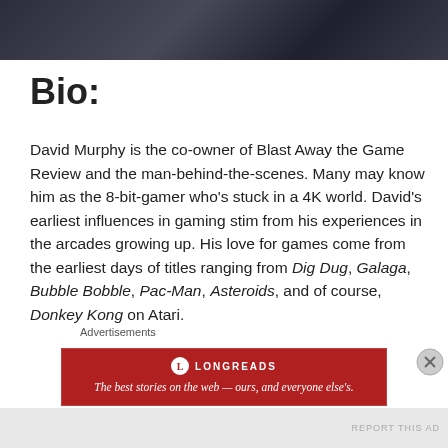[Figure (photo): Dark photograph strip showing partial figures in dim lighting]
Bio:
David Murphy is the co-owner of Blast Away the Game Review and the man-behind-the-scenes. Many may know him as the 8-bit-gamer who’s stuck in a 4K world. David’s earliest influences in gaming stim from his experiences in the arcades growing up. His love for games come from the earliest days of titles ranging from Dig Dug, Galaga, Bubble Bobble, Pac-Man, Asteroids, and of course, Donkey Kong on Atari.
Advertisements
[Figure (screenshot): Longreads advertisement banner: The best stories on the web — ours, and everyone else’s.]